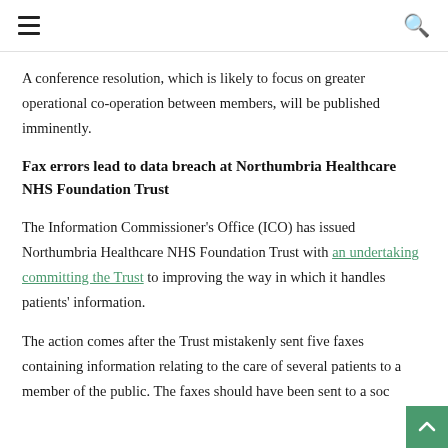≡  🔍
A conference resolution, which is likely to focus on greater operational co-operation between members, will be published imminently.
Fax errors lead to data breach at Northumbria Healthcare NHS Foundation Trust
The Information Commissioner's Office (ICO) has issued Northumbria Healthcare NHS Foundation Trust with an undertaking committing the Trust to improving the way in which it handles patients' information.
The action comes after the Trust mistakenly sent five faxes containing information relating to the care of several patients to a member of the public. The faxes should have been sent to a soc